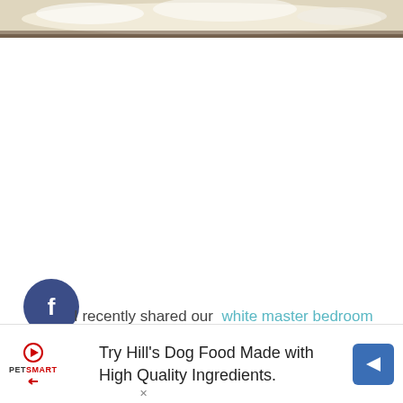[Figure (photo): Top portion of a fluffy white sheepskin or fur rug/item photographed on a dark wood surface, partially cropped at the top of the page]
[Figure (infographic): Social media sharing sidebar buttons: Facebook (dark blue circle with 'f'), Twitter (cyan circle with bird icon), Pinterest (red circle with 'p' pin icon)]
I recently shared our  white master bedroom makeover  here on the blog just a few weeks ago, and I was so excited to show you the rug we chose. It really made the room come together and I have been loving it.
[Figure (screenshot): Advertisement banner for PetSmart Hill's Dog Food: 'Try Hill's Dog Food Made with High Quality Ingredients.' with PetSmart logo on left and blue diamond arrow icon on right]